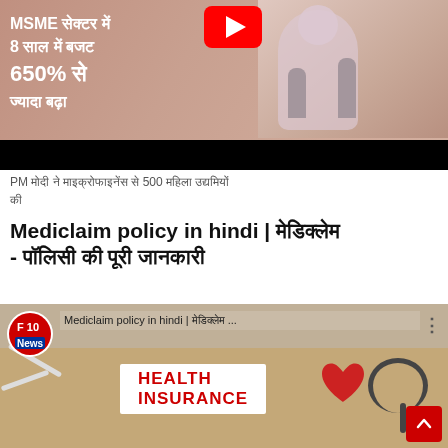[Figure (screenshot): YouTube video thumbnail showing a speaker at a podium with Hindi text overlay: MSME सेक्टर में 8 साल में बजट 650% से ज्यादा बढ़ा, with YouTube play button and black bar at bottom]
PM मोदी ने माइक्रोफाइनेंस से 500 महिला उद्यमियों की
Mediclaim policy in hindi | मेडिक्लेम - पॉलिसी की पूरी जानकारी
[Figure (screenshot): YouTube video thumbnail for 'Mediclaim policy in hindi' by F10 News channel, showing a health insurance sign on a wooden table with stethoscope and heart shapes]